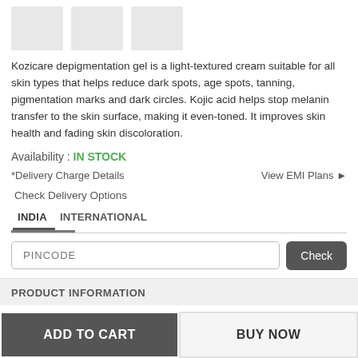[Figure (photo): Three product thumbnail placeholder images (grey boxes)]
Kozicare depigmentation gel is a light-textured cream suitable for all skin types that helps reduce dark spots, age spots, tanning, pigmentation marks and dark circles. Kojic acid helps stop melanin transfer to the skin surface, making it even-toned. It improves skin health and fading skin discoloration.
Availability : IN STOCK
*Delivery Charge Details	View EMI Plans ▶
Check Delivery Options
INDIA   INTERNATIONAL
PINCODE   Check
PRODUCT INFORMATION
ADD TO CART
BUY NOW